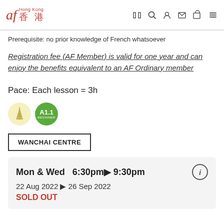af Hong Kong 香港
Prerequisite: no prior knowledge of French whatsoever
Registration fee (AF Member) is valid for one year and can enjoy the benefits equivalent to an AF Ordinary member
Pace: Each lesson = 3h
[Figure (illustration): Two circular badges: a cream/yellow badge with Eiffel tower icon, and a green badge labeled A1.1]
WANCHAI CENTRE
Mon & Wed  6:30pm▶ 9:30pm
22 Aug 2022 ▶ 26 Sep 2022
SOLD OUT